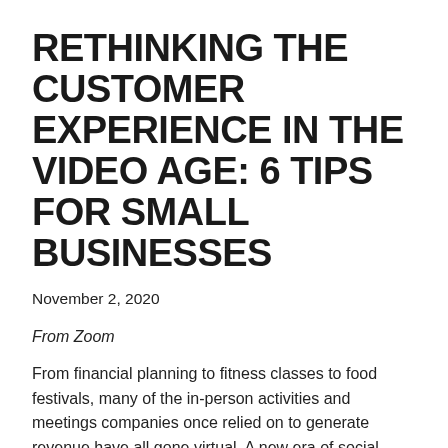RETHINKING THE CUSTOMER EXPERIENCE IN THE VIDEO AGE: 6 TIPS FOR SMALL BUSINESSES
November 2, 2020
From Zoom
From financial planning to fitness classes to food festivals, many of the in-person activities and meetings companies once relied on to generate revenue have all gone virtual. A new era of social distancing has entrepreneurs and small-business